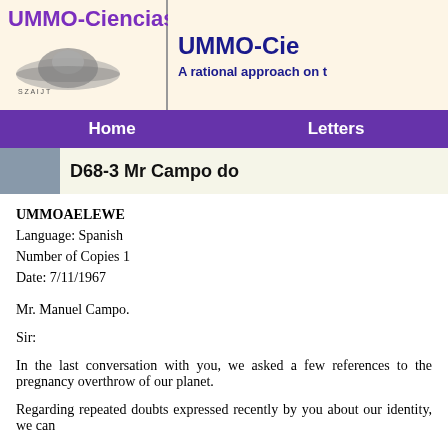UMMO-Ciencias | UMMO-Ciencias A rational approach on t
Home | Letters
D68-3 Mr Campo do
UMMOAELEWE
Language: Spanish
Number of Copies 1
Date: 7/11/1967
Mr. Manuel Campo.
Sir:
In the last conversation with you, we asked a few references to the pregnancy overthrow of our planet.
Regarding repeated doubts expressed recently by you about our identity, we can
ANALYZE THEIR TWO MOST SIGNIFICANT DOUBTS.
It is inconceivable that you express so well in French or Castilian and advocate
We do not understand the value of an objection formulated in these terms is